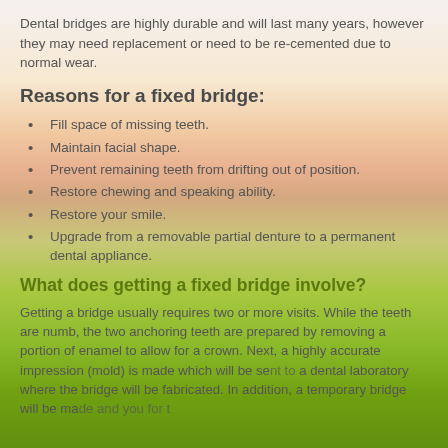Dental bridges are highly durable and will last many years, however they may need replacement or need to be re-cemented due to normal wear.
Reasons for a fixed bridge:
Fill space of missing teeth.
Maintain facial shape.
Prevent remaining teeth from drifting out of position.
Restore chewing and speaking ability.
Restore your smile.
Upgrade from a removable partial denture to a permanent dental appliance.
What does getting a fixed bridge involve?
Getting a bridge usually requires two or more visits. While the teeth are numb, the two anchoring teeth are prepared by removing a portion of enamel to allow for a crown. Next, a highly accurate impression (mold) is made which will be sent to a dental laboratory where the bridge will be fabricated. In addition, a temporary bridge will be made and you for the